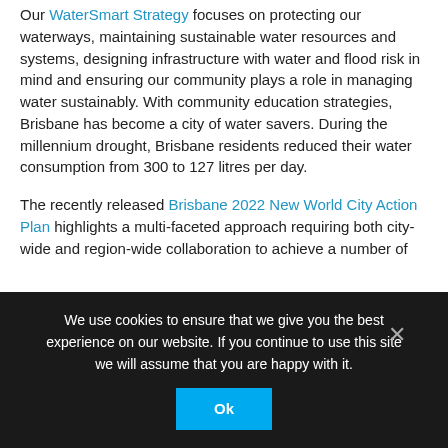Our WaterSmart Strategy focuses on protecting our waterways, maintaining sustainable water resources and systems, designing infrastructure with water and flood risk in mind and ensuring our community plays a role in managing water sustainably. With community education strategies, Brisbane has become a city of water savers. During the millennium drought, Brisbane residents reduced their water consumption from 300 to 127 litres per day.
The recently released Brisbane 2022 New World City Action Plan highlights a multi-faceted approach requiring both city-wide and region-wide collaboration to achieve a number of priorities. To assist Brisbane's move in...
We use cookies to ensure that we give you the best experience on our website. If you continue to use this site we will assume that you are happy with it.